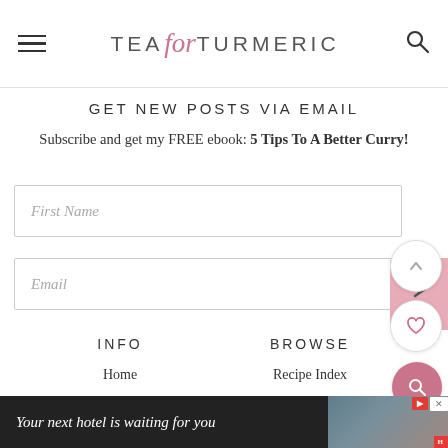Tea for Turmeric
GET NEW POSTS VIA EMAIL
Subscribe and get my FREE ebook: 5 Tips To A Better Curry!
First Name
Email
INFO
BROWSE
Home
Recipe Index
[Figure (other): Advertisement banner: Your next hotel is waiting for you, with hotel image background and red H logo.]